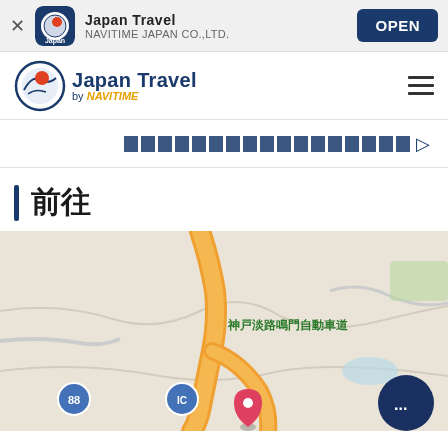[Figure (screenshot): App store banner for Japan Travel by NAVITIME JAPAN CO.,LTD. with OPEN button]
[Figure (logo): Japan Travel by NAVITIME navigation bar logo with hamburger menu]
[Figure (other): Link row with grid of dark blue blocks and arrow icon]
前往
[Figure (map): Map showing 神戸淡路鳴門自動車道 highway route with orange road, route 88 badge, IC badge, pin marker, and FAB button]